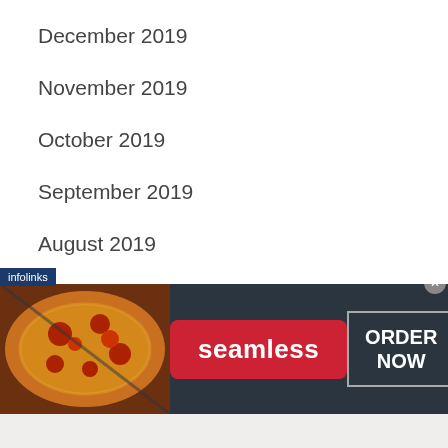December 2019
November 2019
October 2019
September 2019
August 2019
July 2019
June 2019
May 2019
April 2019
[Figure (screenshot): Seamless food delivery advertisement banner with pizza image on left, red Seamless logo button in center, and ORDER NOW button on right, on dark background. Infolinks badge in top-left corner.]